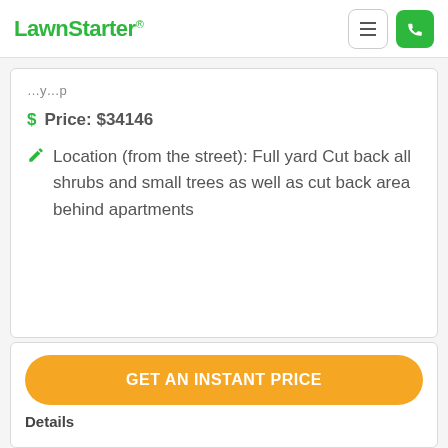LawnStarter
Price: $34146
Location (from the street): Full yard Cut back all shrubs and small trees as well as cut back area behind apartments
GET AN INSTANT PRICE
Details